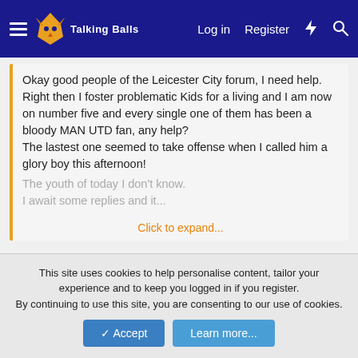Talking Balls | Log in | Register
Okay good people of the Leicester City forum, I need help.
Right then I foster problematic Kids for a living and I am now on number five and every single one of them has been a bloody MAN UTD fan, any help?
The lastest one seemed to take offense when I called him a glory boy this afternoon!
The youth of today I don't know.
I await some replies and it...
Click to expand...
Mighty mighty Whitwick my home town!
Scowcroft
New Member
This site uses cookies to help personalise content, tailor your experience and to keep you logged in if you register.
By continuing to use this site, you are consenting to our use of cookies.